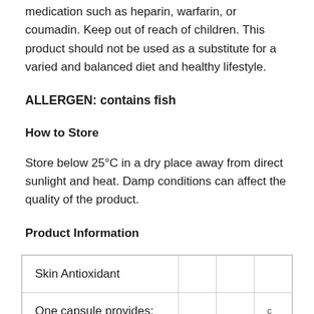medication such as heparin, warfarin, or coumadin. Keep out of reach of children. This product should not be used as a substitute for a varied and balanced diet and healthy lifestyle.
ALLERGEN: contains fish
How to Store
Store below 25°C in a dry place away from direct sunlight and heat. Damp conditions can affect the quality of the product.
Product Information
| Skin Antioxidant |  |  |  |
| One capsule provides: |  |  | c |